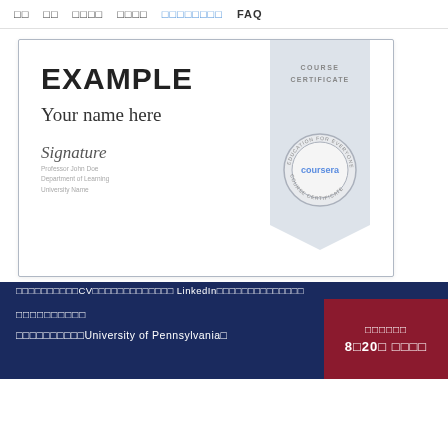□□  □□  □□□□  □□□□  □□□□□□□□  FAQ
[Figure (illustration): Coursera Course Certificate example showing 'EXAMPLE / Your name here' with signature, professor info, ribbon banner with COURSE CERTIFICATE text, and Coursera seal]
□□□□□□□□□□CV□□□□□□□□□□□□□ LinkedIn□□□□□□□□□□□□□□
□□□□□□□□□□
□□□□□□□□□□University of Pennsylvania□
□□□□□□
8□20□ □□□□